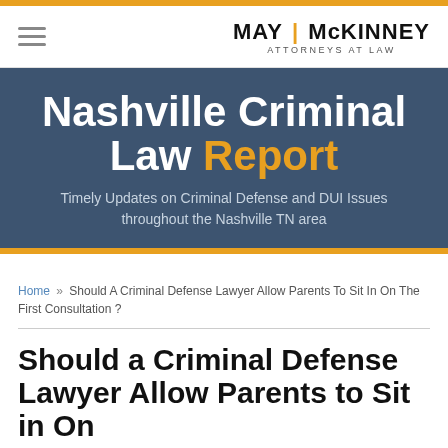MAY | McKINNEY ATTORNEYS AT LAW
[Figure (logo): May McKinney Attorneys at Law logo with hamburger menu icon on left]
Nashville Criminal Law Report
Timely Updates on Criminal Defense and DUI Issues throughout the Nashville TN area
Home » Should A Criminal Defense Lawyer Allow Parents To Sit In On The First Consultation ?
Should a Criminal Defense Lawyer Allow Parents to Sit in On